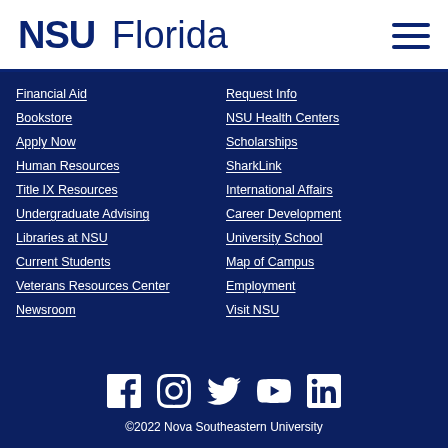NSU Florida
Financial Aid
Bookstore
Apply Now
Human Resources
Title IX Resources
Undergraduate Advising
Libraries at NSU
Current Students
Veterans Resources Center
Newsroom
Request Info
NSU Health Centers
Scholarships
SharkLink
International Affairs
Career Development
University School
Map of Campus
Employment
Visit NSU
[Figure (infographic): Social media icons: Facebook, Instagram, Twitter, YouTube, LinkedIn]
©2022 Nova Southeastern University